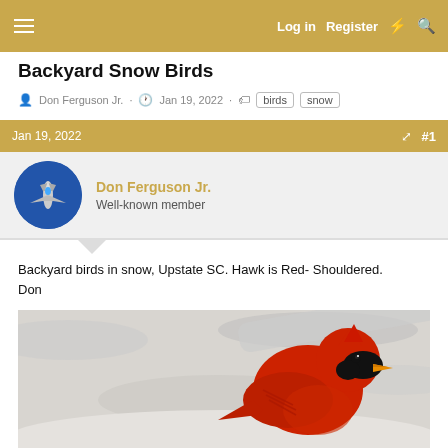Log in  Register
Backyard Snow Birds
Don Ferguson Jr. · Jan 19, 2022 · birds  snow
Jan 19, 2022  #1
Don Ferguson Jr.
Well-known member
Backyard birds in snow, Upstate SC. Hawk is Red- Shouldered.
Don
[Figure (photo): A bright red Northern Cardinal bird in snow, with snowy branch background]